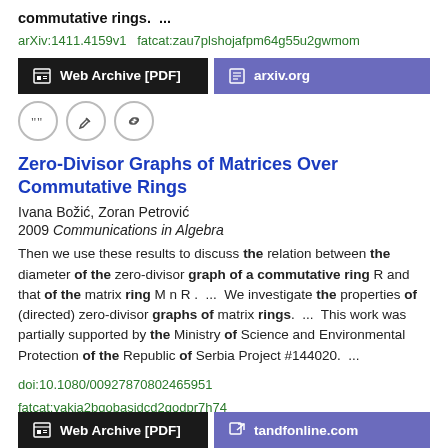commutative rings.  ...
arXiv:1411.4159v1  fatcat:zau7plshojafpm64g55u2gwmom
[Figure (other): Two buttons: Web Archive [PDF] (black) and arxiv.org (purple)]
[Figure (other): Three icon circles: quote, edit, link]
Zero-Divisor Graphs of Matrices Over Commutative Rings
Ivana Božić, Zoran Petrović
2009 Communications in Algebra
Then we use these results to discuss the relation between the diameter of the zero-divisor graph of a commutative ring R and that of the matrix ring M n R .  ...  We investigate the properties of (directed) zero-divisor graphs of matrix rings.  ...  This work was partially supported by the Ministry of Science and Environmental Protection of the Republic of Serbia Project #144020.  ...
doi:10.1080/00927870802465951
fatcat:yakja2bqobasjdcd2qodpr7h74
[Figure (other): Two buttons: Web Archive [PDF] (black) and tandfonline.com (purple)]